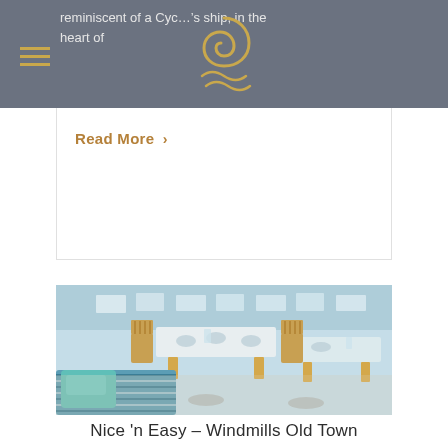reminiscent of a Cyclonis ship, in the heart of
Read More >
[Figure (photo): Outdoor beach restaurant with white and wooden tables, teak slatted chairs, blue striped cushions and pillows in foreground, set tables with plates and glasses, sea visible in background]
Nice 'n Easy – Windmills Old Town